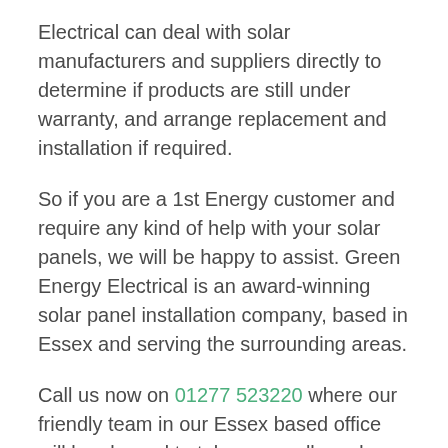Electrical can deal with solar manufacturers and suppliers directly to determine if products are still under warranty, and arrange replacement and installation if required.
So if you are a 1st Energy customer and require any kind of help with your solar panels, we will be happy to assist. Green Energy Electrical is an award-winning solar panel installation company, based in Essex and serving the surrounding areas.
Call us now on 01277 523220 where our friendly team in our Essex based office will be pleased to take your calls and answer any enquiries you have.